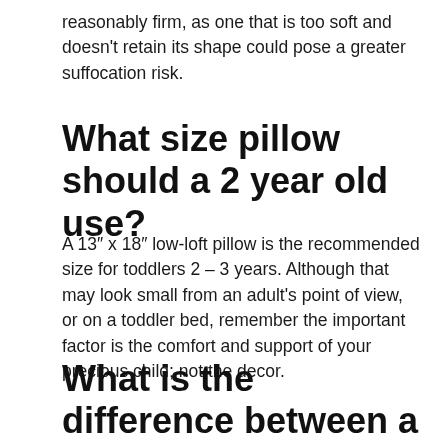reasonably firm, as one that is too soft and doesn't retain its shape could pose a greater suffocation risk.
What size pillow should a 2 year old use?
A 13″ x 18″ low-loft pillow is the recommended size for toddlers 2 – 3 years. Although that may look small from an adult's point of view, or on a toddler bed, remember the important factor is the comfort and support of your precious child; not the decor.
What is the difference between a toddler pillow and a regular pillow?